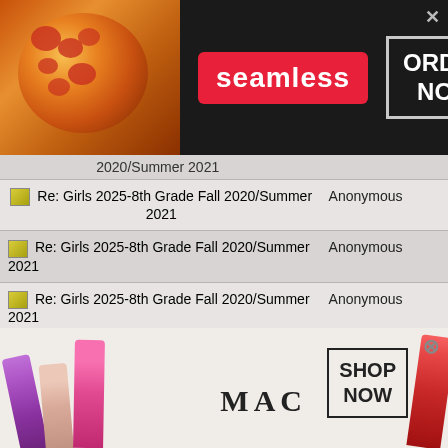[Figure (screenshot): Seamless food delivery advertisement banner with pizza image, Seamless red logo badge, and ORDER NOW button]
| Topic | Author |
| --- | --- |
| [icon] Girls 2025-8th Grade Fall 2020/Summer 2021 |  |
| [icon] Re: Girls 2025-8th Grade Fall 2020/Summer 2021 | Anonymous |
| [icon] Re: Girls 2025-8th Grade Fall 2020/Summer 2021 | Anonymous |
| [icon] Re: Girls 2025-8th Grade Fall 2020/Summer 2021 | Anonymous |
| [icon] Re: Girls 2025-8th Grade Fall 2020/Summer 2021 | Anonymous |
| [icon] Re: Girls 2025-8th Grade Fall 2020/Summer 2021 | Anonymous |
| [icon] Re: Girls 2025-8th Grade Fall | Anonymous |
[Figure (screenshot): MAC Cosmetics advertisement with colorful lipsticks, MAC logo, and SHOP NOW button]